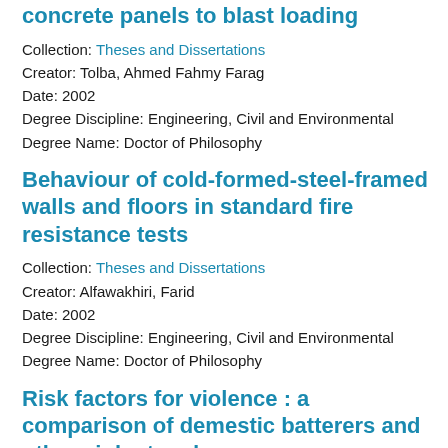concrete panels to blast loading
Collection: Theses and Dissertations
Creator: Tolba, Ahmed Fahmy Farag
Date: 2002
Degree Discipline: Engineering, Civil and Environmental
Degree Name: Doctor of Philosophy
Behaviour of cold-formed-steel-framed walls and floors in standard fire resistance tests
Collection: Theses and Dissertations
Creator: Alfawakhiri, Farid
Date: 2002
Degree Discipline: Engineering, Civil and Environmental
Degree Name: Doctor of Philosophy
Risk factors for violence : a comparison of demestic batterers and other violent and